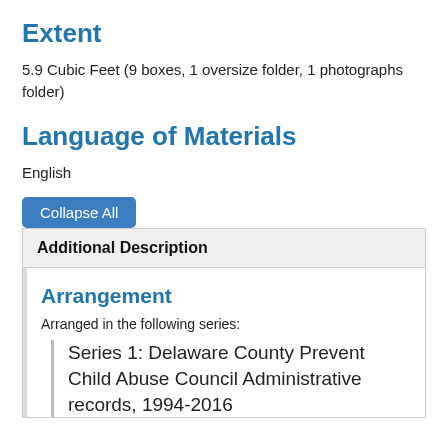Extent
5.9 Cubic Feet (9 boxes, 1 oversize folder, 1 photographs folder)
Language of Materials
English
Collapse All
Additional Description
Arrangement
Arranged in the following series:
Series 1: Delaware County Prevent Child Abuse Council Administrative records, 1994-2016